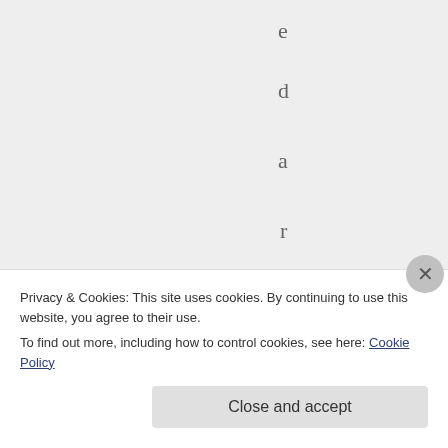edarareabout
Privacy & Cookies: This site uses cookies. By continuing to use this website, you agree to their use.
To find out more, including how to control cookies, see here: Cookie Policy